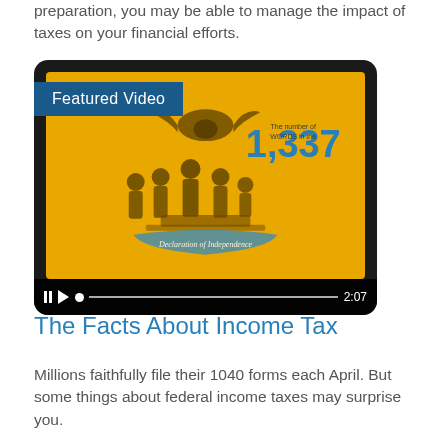preparation, you may be able to manage the impact of taxes on your financial efforts.
[Figure (screenshot): A featured video thumbnail showing a tablet device displaying an illustration of the Declaration of Independence signing with the number 1,337 prominently shown in blue text on a yellow background. Video controls show pause, play, a progress bar, and a duration of 2:07. A blue banner reads 'Featured Video'.]
The Facts About Income Tax
Millions faithfully file their 1040 forms each April. But some things about federal income taxes may surprise you.